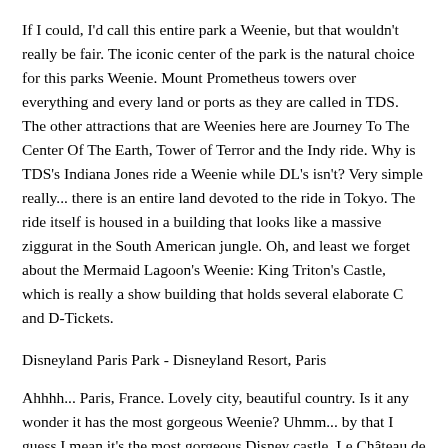If I could, I'd call this entire park a Weenie, but that wouldn't really be fair. The iconic center of the park is the natural choice for this parks Weenie. Mount Prometheus towers over everything and every land or ports as they are called in TDS. The other attractions that are Weenies here are Journey To The Center Of The Earth, Tower of Terror and the Indy ride. Why is TDS's Indiana Jones ride a Weenie while DL's isn't? Very simple really... there is an entire land devoted to the ride in Tokyo. The ride itself is housed in a building that looks like a massive ziggurat in the South American jungle. Oh, and least we forget about the Mermaid Lagoon's Weenie: King Triton's Castle, which is really a show building that holds several elaborate C and D-Tickets.
Disneyland Paris Park - Disneyland Resort, Paris
Ahhhh... Paris, France. Lovely city, beautiful country. Is it any wonder it has the most gorgeous Weenie? Uhmm... by that I guess I mean it's the most gorgeous Disney castle. Le Château de la Belle au Bois Dormant is simply the most detailed representation of Sleeping Beauty Castle. To walk in and around it is to be in a fairy tale. It is a perfect example of a Weenie. Of course, the park has several others too. DLP's Big Thunder Mountain Railroad is equal if not better than the Disneyland original. As is the Space Mountain in Discoveryland(Paris' Tomorrowland). This park would tie with the original